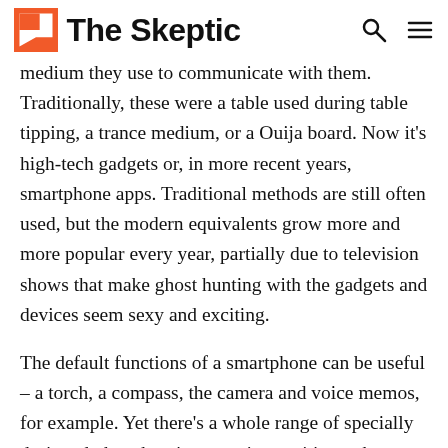The Skeptic
medium they use to communicate with them. Traditionally, these were a table used during table tipping, a trance medium, or a Ouija board. Now it's high-tech gadgets or, in more recent years, smartphone apps. Traditional methods are still often used, but the modern equivalents grow more and more popular every year, partially due to television shows that make ghost hunting with the gadgets and devices seem sexy and exciting.
The default functions of a smartphone can be useful – a torch, a compass, the camera and voice memos, for example. Yet there's a whole range of specially designed ghost hunting apps just waiting to be downloaded by Zak Bagans wannabes everywhere. Some of them are even branded by popular ghost hunting television shows and advertised to fans at the end of each episode.